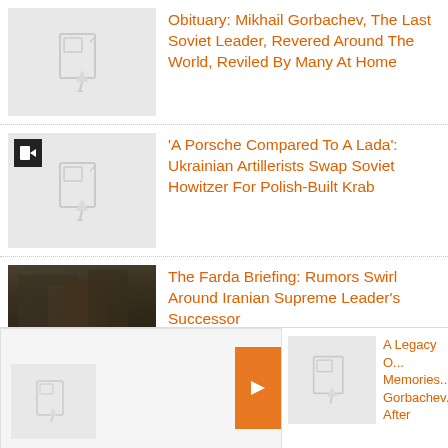[Figure (photo): Placeholder image thumbnail for Gorbachev obituary]
Obituary: Mikhail Gorbachev, The Last Soviet Leader, Revered Around The World, Reviled By Many At Home
[Figure (photo): Placeholder image thumbnail with video badge for Ukrainian artillery story]
'A Porsche Compared To A Lada': Ukrainian Artillerists Swap Soviet Howitzer For Polish-Built Krab
[Figure (photo): Photo of men in religious attire at an Iranian gathering]
The Farda Briefing: Rumors Swirl Around Iranian Supreme Leader's Successor
[Figure (photo): Partial placeholder thumbnail bottom left]
[Figure (photo): Partial placeholder thumbnail bottom right]
A Legacy O... Memories... Gorbachev... After